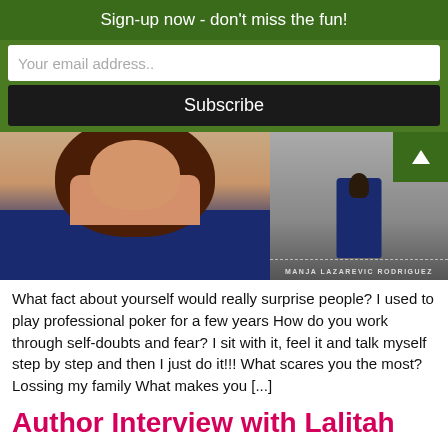Sign-up now - don't miss the fun!
Your email address..
Subscribe
[Figure (photo): Left: portrait photo of a woman with long brown hair wearing a navy blue tank top. Right: book cover showing a girl in a navy dress facing away, with barbed wire and text 'MANJA LAZAREVIC RODRIGUEZ'. A green arrow button appears in top-right corner.]
What fact about yourself would really surprise people? I used to play professional poker for a few years How do you work through self-doubts and fear? I sit with it, feel it and talk myself step by step and then I just do it!!! What scares you the most? Lossing my family What makes you [...]
Author Interview with Lalitah